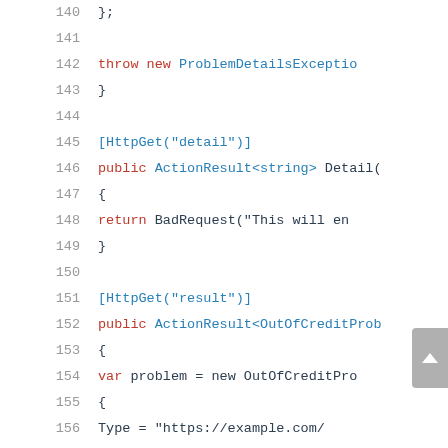[Figure (screenshot): Code editor screenshot showing C# ASP.NET controller code, lines 140-159. Line numbers in gray on left. Keywords in red ('throw', 'public', 'return', 'var'), annotations and types in blue ('[HttpGet]', 'ActionResult', etc.), string literals and identifiers in red/dark. Code includes ProblemDetailsException throw, two HttpGet endpoints ('detail' and 'result'), and initialization of OutOfCreditProblem object with Type, Title, Detail, Instance, Balance properties.]